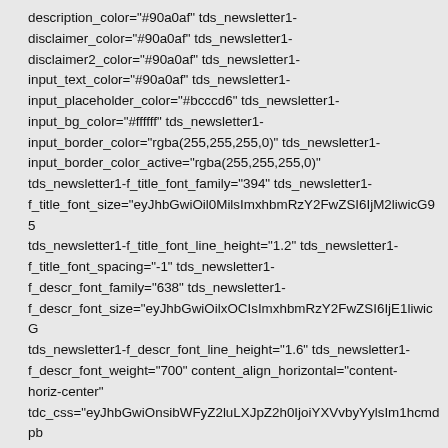description_color="#90a0af" tds_newsletter1-disclaimer_color="#90a0af" tds_newsletter1-disclaimer2_color="#90a0af" tds_newsletter1-input_text_color="#90a0af" tds_newsletter1-input_placeholder_color="#bcccd6" tds_newsletter1-input_bg_color="#ffffff" tds_newsletter1-input_border_color="rgba(255,255,255,0)" tds_newsletter1-input_border_color_active="rgba(255,255,255,0)" tds_newsletter1-f_title_font_family="394" tds_newsletter1-f_title_font_size="eyJhbGwiOil0MilsImxhbmRzY2FwZSI6IjM2liwicG9y tds_newsletter1-f_title_font_line_height="1.2" tds_newsletter1-f_title_font_spacing="-1" tds_newsletter1-f_descr_font_family="638" tds_newsletter1-f_descr_font_size="eyJhbGwiOilxOCIsImxhbmRzY2FwZSI6IjE1liwicG tds_newsletter1-f_descr_font_line_height="1.6" tds_newsletter1-f_descr_font_weight="700" content_align_horizontal="content-horiz-center" tdc_css="eyJhbGwiOnsibWFyZ2luLXJpZ2h0IjoiYXVvbyYylsIm1hcmdpb tds_newsletter1-f_disclaimer_font_family="394" tds_newsletter1-f_disclaimer2_font_family="394" tds_newsletter1-f_input_font_family="394" tds_newsletter1-f_input_font_distinct="3" ds_newsletter1-